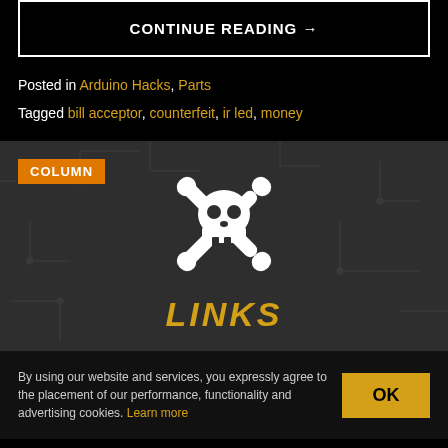CONTINUE READING →
Posted in Arduino Hacks, Parts
Tagged bill acceptor, counterfeit, ir led, money
COLUMN
[Figure (logo): Hackaday Links logo: white skull with crossed wrenches, yellow LINKS text below, on dark circuit board background]
By using our website and services, you expressly agree to the placement of our performance, functionality and advertising cookies. Learn more